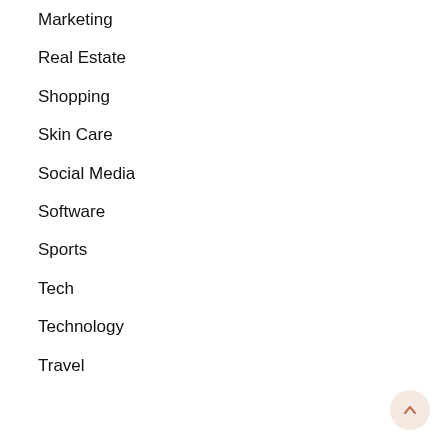Marketing
Real Estate
Shopping
Skin Care
Social Media
Software
Sports
Tech
Technology
Travel